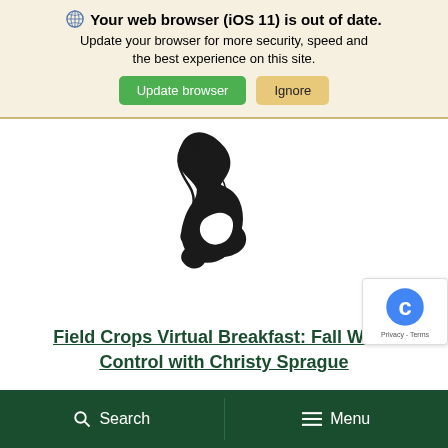Your web browser (iOS 11) is out of date. Update your browser for more security, speed and the best experience on this site.
Update browser | Ignore
[Figure (logo): Michigan State University Spartan helmet logo in black]
Field Crops Virtual Breakfast: Fall Weed Control with Christy Sprague
[Figure (logo): Google reCAPTCHA badge with 'c' icon and Privacy - Terms text]
Search  Menu